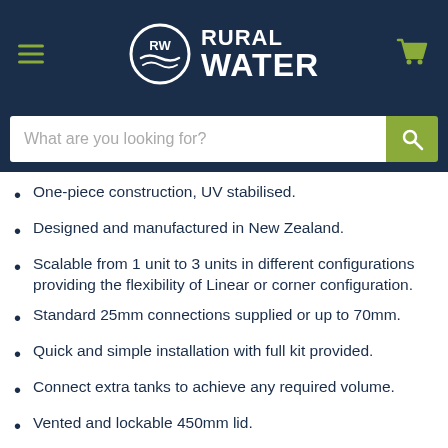[Figure (logo): Rural Water logo with RW circular emblem and brand name in white text on dark navy header]
One-piece construction, UV stabilised.
Designed and manufactured in New Zealand.
Scalable from 1 unit to 3 units in different configurations providing the flexibility of Linear or corner configuration.
Standard 25mm connections supplied or up to 70mm.
Quick and simple installation with full kit provided.
Connect extra tanks to achieve any required volume.
Vented and lockable 450mm lid.